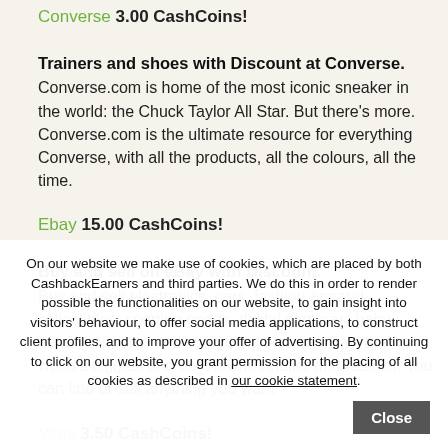Converse 3.00 CashCoins!
Trainers and shoes with Discount at Converse.
Converse.com is home of the most iconic sneaker in the world: the Chuck Taylor All Star. But there's more. Converse.com is the ultimate resource for everything Converse, with all the products, all the colours, all the time.
Ebay 15.00 CashCoins!
Buy and sell on eBay with Discount.
Buy and sell electronics, cars, fashion apparel, collectibles, sporting goods, digital cameras, baby items, coupons, and everything else on eBay, the world's biggest and best online retailer and reseller. You can find or sell anything you want
Vans 3.50 CashCoins!
Buy Vans products with Discount.
The Vans® brand has been connecting with youth culture to promote creative self-expression, authenticity and
On our website we make use of cookies, which are placed by both CashbackEarners and third parties. We do this in order to render possible the functionalities on our website, to gain insight into visitors' behaviour, to offer social media applications, to construct client profiles, and to improve your offer of advertising. By continuing to click on our website, you grant permission for the placing of all cookies as described in our cookie statement.